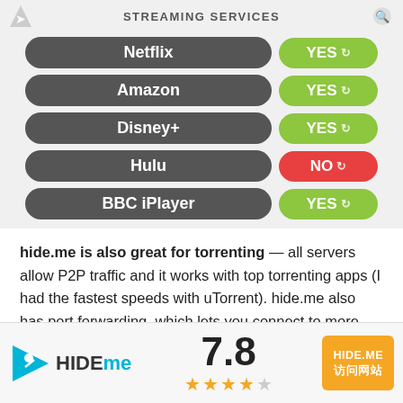STREAMING SERVICES
| Service | Status |
| --- | --- |
| Netflix | YES |
| Amazon | YES |
| Disney+ | YES |
| Hulu | NO |
| BBC iPlayer | YES |
hide.me is also great for torrenting — all servers allow P2P traffic and it works with top torrenting apps (I had the fastest speeds with uTorrent). hide.me also has port forwarding, which lets you connect to more peers to get faster speeds. In my tests, port forwarding provided a 5–10% speed
[Figure (logo): HIDE.me logo with cyan triangle/runner icon, score 7.8, 4 filled stars and 1 empty star, orange button reading HIDE.ME]